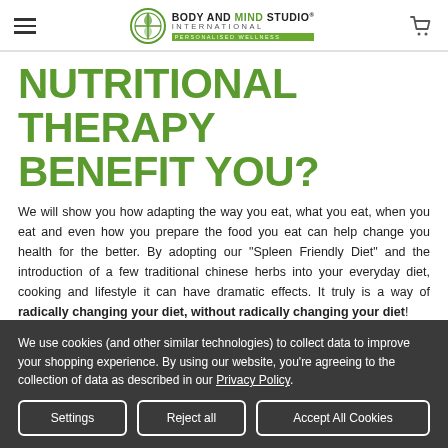Body and Mind Studio International — Personalised Wellness (logo and navigation header)
NUTRITIONAL THERAPY BENEFIT YOU?
We will show you how adapting the way you eat, what you eat, when you eat and even how you prepare the food you eat can help change you health for the better. By adopting our "Spleen Friendly Diet" and the introduction of a few traditional chinese herbs into your everyday diet, cooking and lifestyle it can have dramatic effects. It truly is a way of radically changing your diet, without radically changing your diet!
We use cookies (and other similar technologies) to collect data to improve your shopping experience. By using our website, you're agreeing to the collection of data as described in our Privacy Policy.
Settings | Reject all | Accept All Cookies